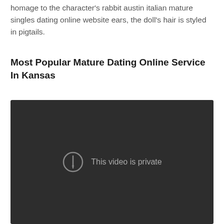homage to the character's rabbit austin italian mature singles dating online website ears, the doll's hair is styled in pigtails.
Most Popular Mature Dating Online Service In Kansas
[Figure (screenshot): Dark video player showing 'This video is private' message with an exclamation mark icon in a circle]